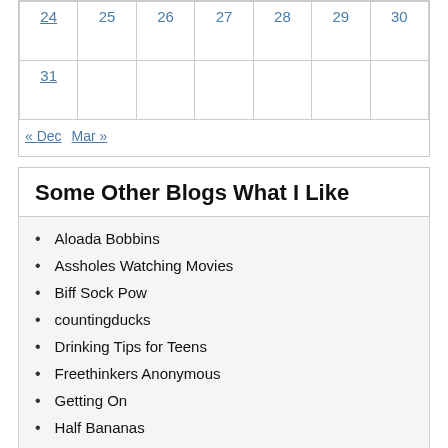| 24 | 25 | 26 | 27 | 28 | 29 | 30 |
| 31 |  |  |  |  |  |  |
« Dec   Mar »
Some Other Blogs What I Like
Aloada Bobbins
Assholes Watching Movies
Biff Sock Pow
countingducks
Drinking Tips for Teens
Freethinkers Anonymous
Getting On
Half Bananas
Heavy Little People
Little Fears